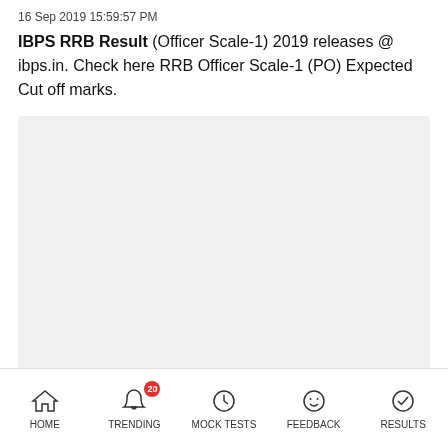16 Sep 2019 15:59:57 PM
IBPS RRB Result (Officer Scale-1)  2019 releases @ ibps.in. Check here RRB Officer Scale-1 (PO) Expected Cut off marks.
[Figure (other): Gray placeholder/advertisement box]
HOME   TRENDING   MOCK TESTS   FEEDBACK   RESULTS